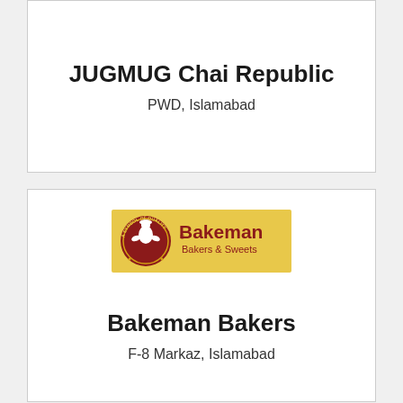JUGMUG Chai Republic
PWD, Islamabad
[Figure (logo): Bakeman Bakers and Sweets logo - golden background with circular red emblem showing a baker figure and text 'Bakeman Bakers & Sweets']
Bakeman Bakers
F-8 Markaz, Islamabad